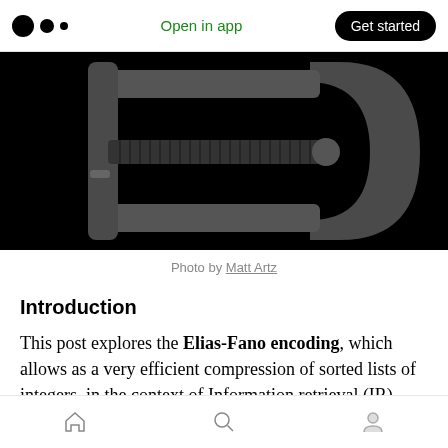Medium — Open in app  Get started
[Figure (photo): Black and white close-up photo of a metal C-clamp or G-clamp with a threaded screw mechanism, on a black background]
Photo by Matt Artz
Introduction
This post explores the Elias-Fano encoding, which allows as a very efficient compression of sorted lists of integers, in the context of Information retrieval (IR).